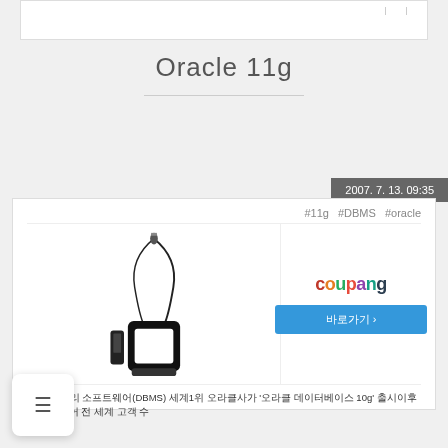Oracle 11g
2007. 7. 13. 09:35
#11g  #DBMS  #oracle
[Figure (photo): Product photo of a black waterproof phone case with lanyard]
[Figure (logo): Coupang logo with blue 바로가기 button]
데이터 관리 소프트웨어(DBMS) 세계1위 오라클사가 '오라클 데이터베이스 10g' 출시이후 35%나 늘어 전 세계 고객 수